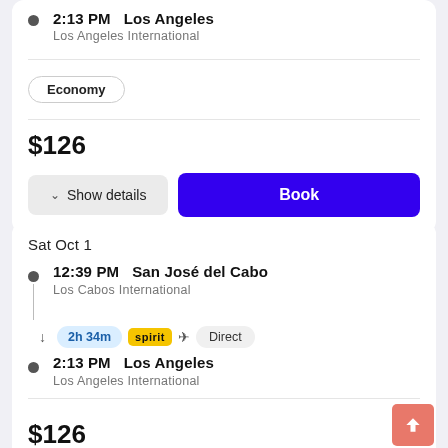2:13 PM   Los Angeles
Los Angeles International
Economy
$126
Show details
Book
Sat Oct 1
12:39 PM   San José del Cabo
Los Cabos International
2h 34m
spirit
Direct
2:13 PM   Los Angeles
Los Angeles International
Economy
$126